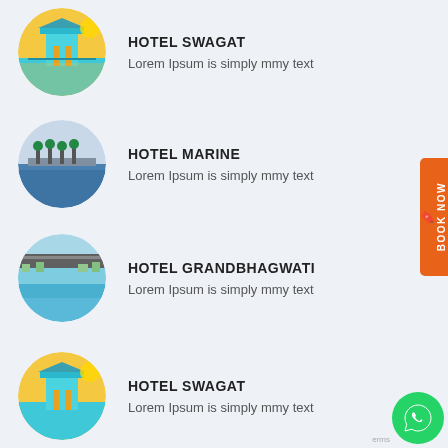[Figure (photo): Circular photo of a beach lifeguard tower at sunset (Hotel Swagat)]
HOTEL SWAGAT
Lorem Ipsum is simply mmy text
[Figure (photo): Circular photo of a marina/waterfront with trees (Hotel Marine)]
HOTEL MARINE
Lorem Ipsum is simply mmy text
[Figure (photo): Circular photo of a rooftop infinity pool overlooking water (Hotel Grandbhagwati)]
HOTEL GRANDBHAGWATI
Lorem Ipsum is simply mmy text
[Figure (photo): Circular photo of a beach lifeguard tower at sunset (Hotel Swagat repeated)]
HOTEL SWAGAT
Lorem Ipsum is simply mmy text